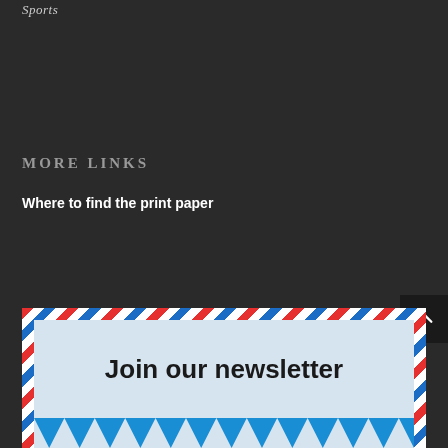Sports
MORE LINKS
Where to find the print paper
Join our newsletter